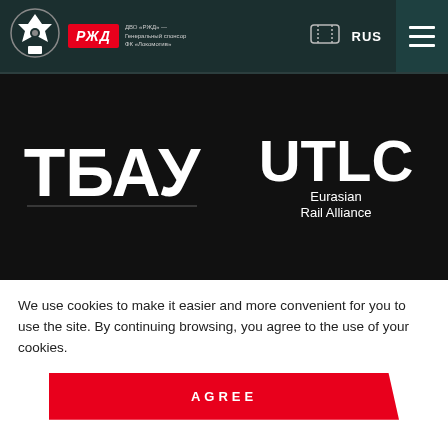[Figure (logo): Navigation bar with Lokomotiv club logo, RZD sponsor badge, ticket icon, RUS language selector, and hamburger menu]
[Figure (logo): ТБАУ logo in white bold letters on dark background]
[Figure (logo): UTLC Eurasian Rail Alliance logo in white on dark background]
[Figure (logo): НЭРТ logo with globe arc symbol in white on dark background]
[Figure (logo): ЭЛТЕЗА logo with diamond/house icon in white on dark background]
We use cookies to make it easier and more convenient for you to use the site. By continuing browsing, you agree to the use of your cookies.
AGREE